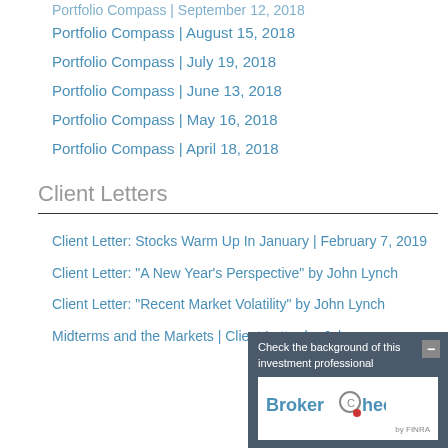Portfolio Compass | August 15, 2018
Portfolio Compass | July 19, 2018
Portfolio Compass | June 13, 2018
Portfolio Compass | May 16, 2018
Portfolio Compass | April 18, 2018
Client Letters
Client Letter: Stocks Warm Up In January | February 7, 2019
Client Letter: "A New Year's Perspective" by John Lynch
Client Letter: "Recent Market Volatility" by John Lynch
Midterms and the Markets | Client Letter by John